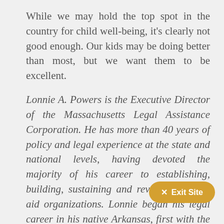While we may hold the top spot in the country for child well-being, it's clearly not good enough. Our kids may be doing better than most, but we want them to be excellent.
Lonnie A. Powers is the Executive Director of the Massachusetts Legal Assistance Corporation. He has more than 40 years of policy and legal experience at the state and national levels, having devoted the majority of his career to establishing, building, sustaining and revitalizing legal aid organizations. Lonnie began his legal career in his native Arkansas, first with the Attorney General's Office and later with Legal Services of Arkansas. He served as Executive Director.